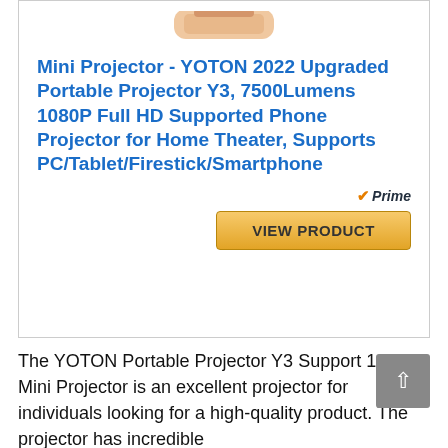[Figure (photo): Partial image of a hand holding a mini projector, cropped at top of card]
Mini Projector - YOTON 2022 Upgraded Portable Projector Y3, 7500Lumens 1080P Full HD Supported Phone Projector for Home Theater, Supports PC/Tablet/Firestick/Smartphone
[Figure (logo): Amazon Prime badge with orange checkmark and italic Prime text]
VIEW PRODUCT
The YOTON Portable Projector Y3 Support 1080P Mini Projector is an excellent projector for individuals looking for a high-quality product. The projector has incredible characteristics like the brightness of 5500...